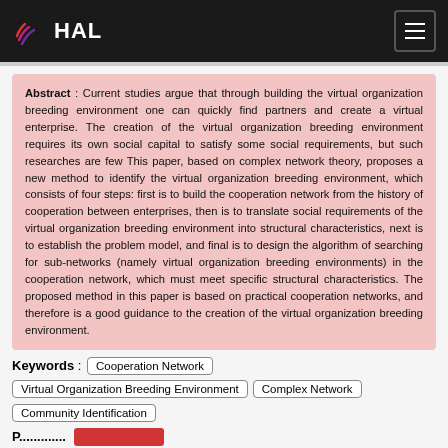HAL
Abstract : Current studies argue that through building the virtual organization breeding environment one can quickly find partners and create a virtual enterprise. The creation of the virtual organization breeding environment requires its own social capital to satisfy some social requirements, but such researches are few This paper, based on complex network theory, proposes a new method to identify the virtual organization breeding environment, which consists of four steps: first is to build the cooperation network from the history of cooperation between enterprises, then is to translate social requirements of the virtual organization breeding environment into structural characteristics, next is to establish the problem model, and final is to design the algorithm of searching for sub-networks (namely virtual organization breeding environments) in the cooperation network, which must meet specific structural characteristics. The proposed method in this paper is based on practical cooperation networks, and therefore is a good guidance to the creation of the virtual organization breeding environment.
Keywords : Cooperation Network, Virtual Organization Breeding Environment, Complex Network, Community Identification